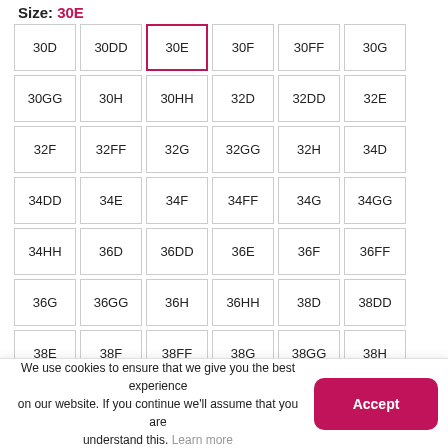Size: 30E
| 30D | 30DD | 30E | 30F | 30FF | 30G |
| 30GG | 30H | 30HH | 32D | 32DD | 32E |
| 32F | 32FF | 32G | 32GG | 32H | 34D |
| 34DD | 34E | 34F | 34FF | 34G | 34GG |
| 34HH | 36D | 36DD | 36E | 36F | 36FF |
| 36G | 36GG | 36H | 36HH | 38D | 38DD |
| 38E | 38F | 38FF | 38G | 38GG | 38H |
| 38HH | 40D | 40DD | 40E | 40F | 40FF |
We use cookies to ensure that we give you the best experience on our website. If you continue we'll assume that you are understand this. Learn more